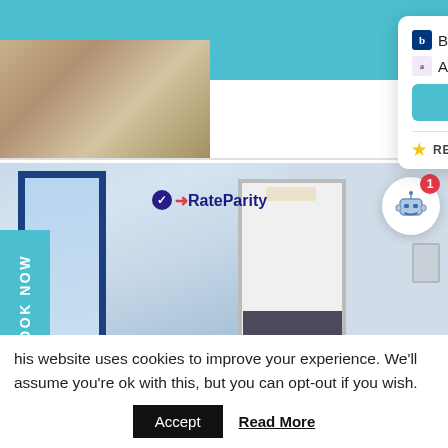[Figure (screenshot): Price comparison popup card showing Booking at $269, Agoda at $276, and Our price at $225, with reviews 9.1/10]
[Figure (photo): Hotel room interior with large blue-framed window, white walls, and an open doorway showing a corridor]
BOOK NOW
RateParity
This website uses cookies to improve your experience. We'll assume you're ok with this, but you can opt-out if you wish.
Accept
Read More